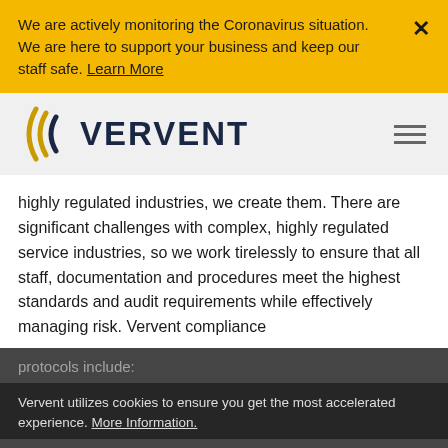We are actively monitoring the Coronavirus situation. We are here to support your business and keep our staff safe. Learn More
[Figure (logo): Vervent company logo with bracket symbols in gold and blue]
highly regulated industries, we create them. There are significant challenges with complex, highly regulated service industries, so we work tirelessly to ensure that all staff, documentation and procedures meet the highest standards and audit requirements while effectively managing risk. Vervent compliance protocols include:
Vervent utilizes cookies to ensure you get the most accelerated experience. More Information.
...training programs for all employees to promote understanding of our internal standards, procedures and requirements